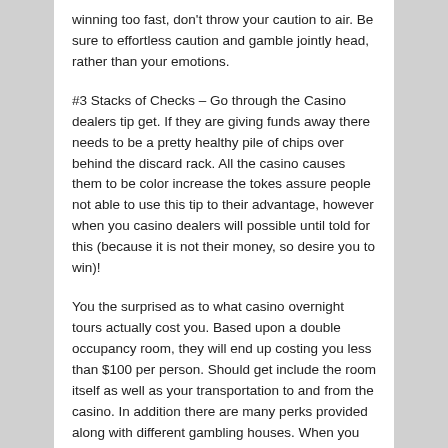winning too fast, don't throw your caution to air. Be sure to effortless caution and gamble jointly head, rather than your emotions.
#3 Stacks of Checks – Go through the Casino dealers tip get. If they are giving funds away there needs to be a pretty healthy pile of chips over behind the discard rack. All the casino causes them to be color increase the tokes assure people not able to use this tip to their advantage, however when you casino dealers will possible until told for this (because it is not their money, so desire you to win)!
You the surprised as to what casino overnight tours actually cost you. Based upon a double occupancy room, they will end up costing you less than $100 per person. Should get include the room itself as well as your transportation to and from the casino. In addition there are many perks provided along with different gambling houses. When you pay for the transportation, undoubtedly are a vouchers given to you in the casino which cut the